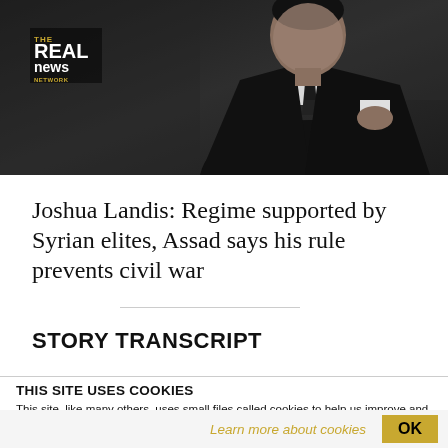[Figure (photo): Man in dark suit and tie seated, with The Real News Network logo overlay in upper left corner of the photo]
Joshua Landis: Regime supported by Syrian elites, Assad says his rule prevents civil war
STORY TRANSCRIPT
THIS SITE USES COOKIES
This site, like many others, uses small files called cookies to help us improve and customize your experience. Learn more about how we use cookies in our cookie policy.
Learn more about cookies
OK